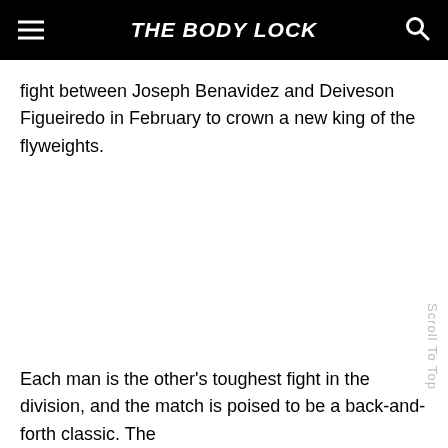THE BODY LOCK
fight between Joseph Benavidez and Deiveson Figueiredo in February to crown a new king of the flyweights.
Each man is the other's toughest fight in the division, and the match is poised to be a back-and-forth classic. The